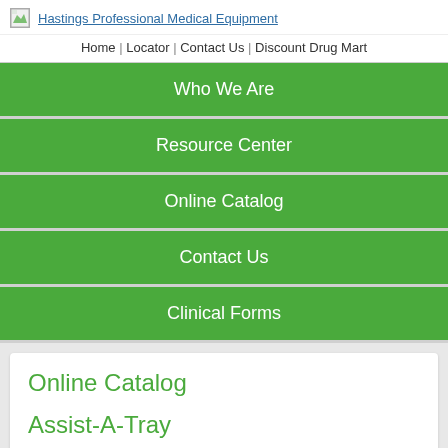Hastings Professional Medical Equipment
Home | Locator | Contact Us | Discount Drug Mart
Who We Are
Resource Center
Online Catalog
Contact Us
Clinical Forms
Online Catalog
Assist-A-Tray